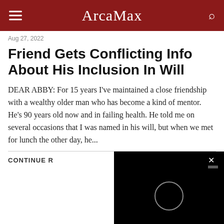ArcaMax
Aug 27, 2022
Friend Gets Conflicting Info About His Inclusion In Will
DEAR ABBY: For 15 years I've maintained a close friendship with a wealthy older man who has become a kind of mentor. He's 90 years old now and in failing health. He told me on several occasions that I was named in his will, but when we met for lunch the other day, he...
CONTINUE R
Aug 26, 2022
Wom ce